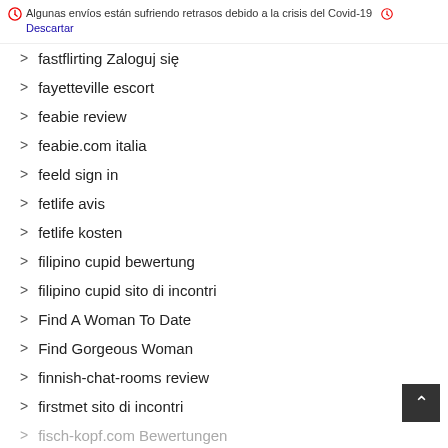Algunas envíos están sufriendo retrasos debido a la crisis del Covid-19 Descartar
fastflirting Zaloguj się
fayetteville escort
feabie review
feabie.com italia
feeld sign in
fetlife avis
fetlife kosten
filipino cupid bewertung
filipino cupid sito di incontri
Find A Woman To Date
Find Gorgeous Woman
finnish-chat-rooms review
firstmet sito di incontri
fisch-kopf.com Bewertungen